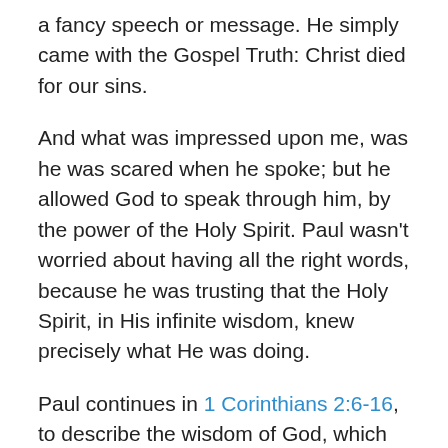a fancy speech or message. He simply came with the Gospel Truth: Christ died for our sins.
And what was impressed upon me, was he was scared when he spoke; but he allowed God to speak through him, by the power of the Holy Spirit. Paul wasn't worried about having all the right words, because he was trusting that the Holy Spirit, in His infinite wisdom, knew precisely what He was doing.
Paul continues in 1 Corinthians 2:6-16, to describe the wisdom of God, which we who believe in the Lord, have been given through the Holy Spirit. It's only through the Spirit of God, that lives in us, that we can read the Word and understand the heart of the Father; because the Holy Spirit and the Father are One. An unbeliever cannot comprehend the things of God, because the Spirit of God